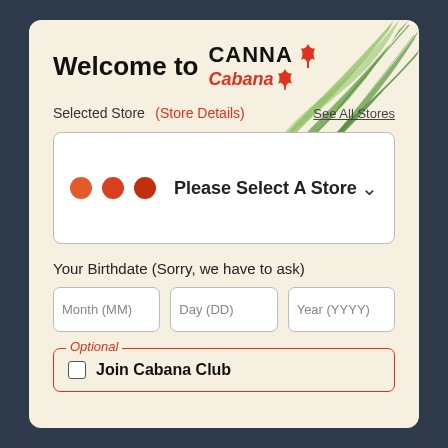Welcome to CANNA Cabana
Selected Store (Store Details) See All Stores
Please Select A Store
Your Birthdate (Sorry, we have to ask)
Month (MM)
Day (DD)
Year (YYYY)
Optional
Join Cabana Club